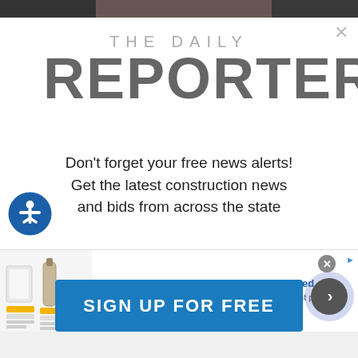[Figure (screenshot): Top strip showing partial image/photo behind modal overlay]
THE DAILY REPORTER
Don't forget your free news alerts! Get the latest construction news and bids from across the state
[Figure (screenshot): Advertisement banner: Restaurant Equipment & Supplies delivered. Shop over 360,000+ restaurant supplies & equipment produc... www.webstaurantstore.com]
[Figure (infographic): Sign Up For Free button in blue]
SIGN UP FOR FREE